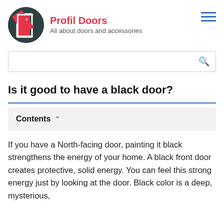Profil Doors – All about doors and accessories
[Figure (logo): Circular dark green logo with a white-framed open red door illustration]
Is it good to have a black door?
Contents
If you have a North-facing door, painting it black strengthens the energy of your home. A black front door creates protective, solid energy. You can feel this strong energy just by looking at the door. Black color is a deep, mysterious,